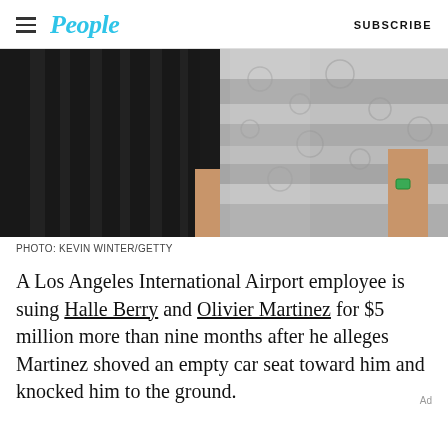People | SUBSCRIBE
[Figure (photo): Cropped photo of two people at an event. Left side shows a person in a black pinstripe suit. Right side shows a person wearing a silver/metallic floral dress, with a green gemstone ring visible on their hand.]
PHOTO: KEVIN WINTER/GETTY
A Los Angeles International Airport employee is suing Halle Berry and Olivier Martinez for $5 million more than nine months after he alleges Martinez shoved an empty car seat toward him and knocked him to the ground.